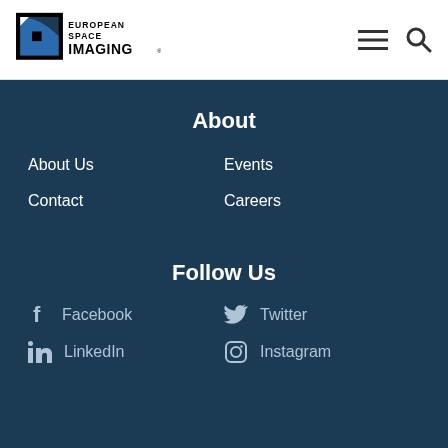European Space Imaging logo with menu and search icons
About
About Us
Events
Contact
Careers
Follow Us
Facebook
Twitter
LinkedIn
Instagram